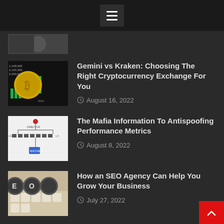Menu navigation icon
[Figure (screenshot): Partial article thumbnail at top, partially visible]
Gemini vs Kraken: Choosing The Right Cryptocurrency Exchange For You — August 16, 2022
The Mafia Information To Antispoofing Performance Metrics — August 8, 2022
How an SEO Agency Can Help You Grow Your Business — July 27, 2022
TAGS